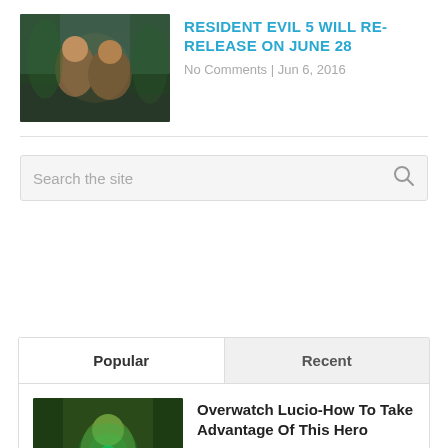[Figure (photo): Resident Evil 5 game thumbnail showing characters in action]
RESIDENT EVIL 5 WILL RE-RELEASE ON JUNE 28
No Comments | Jun 6, 2016
Search the site
Popular | Recent
[Figure (photo): Overwatch Lucio hero character thumbnail]
Overwatch Lucio-How To Take Advantage Of This Hero
May 20, 2016
[Figure (photo): Partial thumbnail of next article]